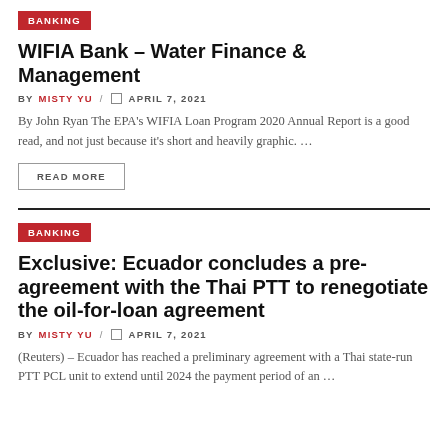BANKING
WIFIA Bank – Water Finance & Management
BY MISTY YU / APRIL 7, 2021
By John Ryan The EPA's WIFIA Loan Program 2020 Annual Report is a good read, and not just because it's short and heavily graphic. …
READ MORE
BANKING
Exclusive: Ecuador concludes a pre-agreement with the Thai PTT to renegotiate the oil-for-loan agreement
BY MISTY YU / APRIL 7, 2021
(Reuters) – Ecuador has reached a preliminary agreement with a Thai state-run PTT PCL unit to extend until 2024 the payment period of an …